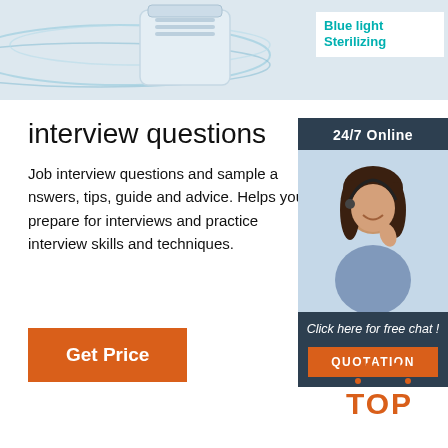[Figure (photo): Top banner with air purifier device and blue/teal waves on light background, with 'Blue light Sterilizing' text overlay on right side]
interview questions
Job interview questions and sample answers, tips, guide and advice. Helps you prepare for interviews and practice interview skills and techniques.
[Figure (infographic): Orange 'Get Price' button]
[Figure (photo): Sidebar widget: '24/7 Online' dark blue header, photo of woman with headset smiling, 'Click here for free chat!' text, orange QUOTATION button]
[Figure (logo): Orange and dark 'TOP' logo with dotted triangle above letters at bottom right]